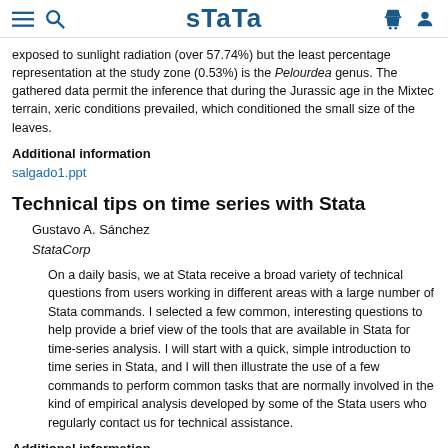Stata
exposed to sunlight radiation (over 57.74%) but the least percentage representation at the study zone (0.53%) is the Pelourdea genus. The gathered data permit the inference that during the Jurassic age in the Mixtec terrain, xeric conditions prevailed, which conditioned the small size of the leaves.
Additional information
salgado1.ppt
Technical tips on time series with Stata
Gustavo A. Sánchez
StataCorp
On a daily basis, we at Stata receive a broad variety of technical questions from users working in different areas with a large number of Stata commands. I selected a few common, interesting questions to help provide a brief view of the tools that are available in Stata for time-series analysis. I will start with a quick, simple introduction to time series in Stata, and I will then illustrate the use of a few commands to perform common tasks that are normally involved in the kind of empirical analysis developed by some of the Stata users who regularly contact us for technical assistance.
Additional information
sanchez.pdf